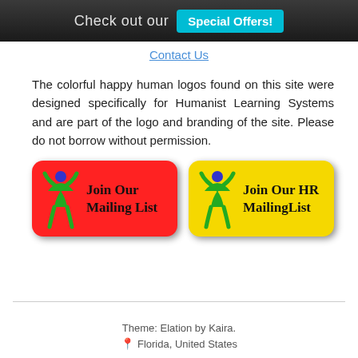Check out our Special Offers!
Contact Us
The colorful happy human logos found on this site were designed specifically for Humanist Learning Systems and are part of the logo and branding of the site. Please do not borrow without permission.
[Figure (logo): Red rounded rectangle button with green human figure logo and blue dot, text: Join Our Mailing List]
[Figure (logo): Yellow rounded rectangle button with green human figure logo and blue dot, text: Join Our HR MailingList]
Theme: Elation by Kaira.
📍 Florida, United States